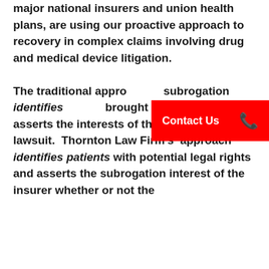major national insurers and union health plans, are using our proactive approach to recovery in complex claims involving drug and medical device litigation. The traditional approach to subrogation identifies claims brought by patients and asserts the interests of the insurer in the lawsuit. Thornton Law Firm's approach identifies patients with potential legal rights and asserts the subrogation interest of the insurer whether or not the